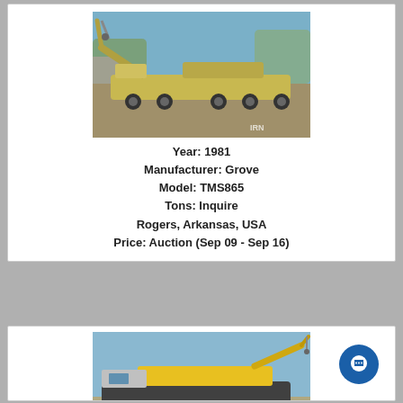[Figure (photo): 1981 Grove TMS865 mobile crane on a flat surface, boom lowered, yellow and dusty, outdoor setting with trees and blue sky in background. IRN watermark visible.]
Year: 1981
Manufacturer: Grove
Model: TMS865
Tons: Inquire
Rogers, Arkansas, USA
Price: Auction (Sep 09 - Sep 16)
[Figure (photo): Yellow and grey mobile crane (all-terrain), boom extended and lowered, parked on dirt lot with blue sky background. Watermark visible bottom right.]